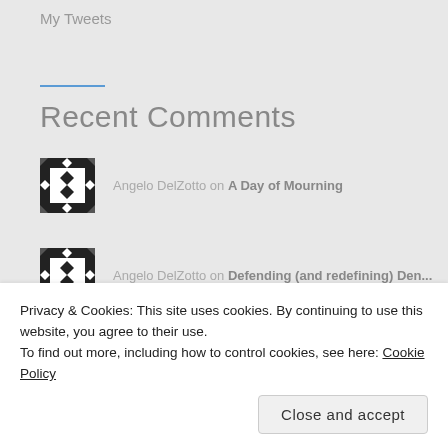My Tweets
Recent Comments
Angelo DelZotto on A Day of Mourning
Angelo DelZotto on Defending (and redefining) Den...
Privacy & Cookies: This site uses cookies. By continuing to use this website, you agree to their use.
To find out more, including how to control cookies, see here: Cookie Policy
Close and accept